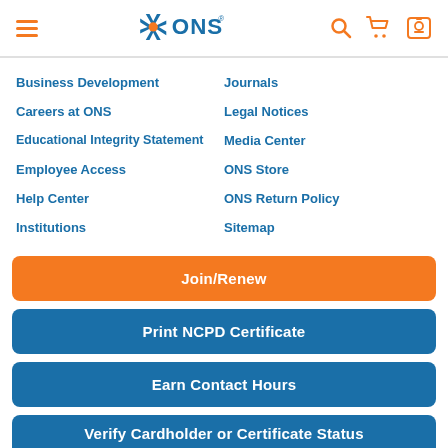[Figure (logo): ONS (Oncology Nursing Society) logo with navigation icons: hamburger menu, ONS logo, search, cart, and account badge icons]
Business Development
Journals
Careers at ONS
Legal Notices
Educational Integrity Statement
Media Center
Employee Access
ONS Store
Help Center
ONS Return Policy
Institutions
Sitemap
Join/Renew
Print NCPD Certificate
Earn Contact Hours
Verify Cardholder or Certificate Status